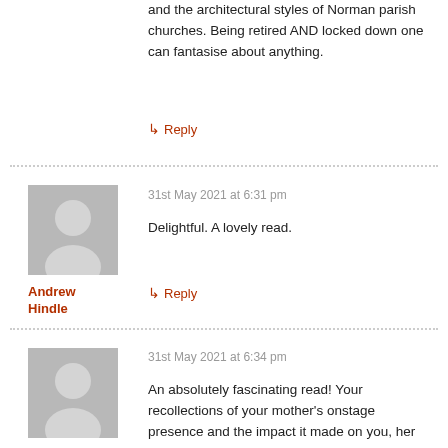and the architectural styles of Norman parish churches. Being retired AND locked down one can fantasise about anything.
↳ Reply
31st May 2021 at 6:31 pm
Delightful. A lovely read.
Andrew Hindle
↳ Reply
31st May 2021 at 6:34 pm
An absolutely fascinating read! Your recollections of your mother's onstage presence and the impact it made on you, her